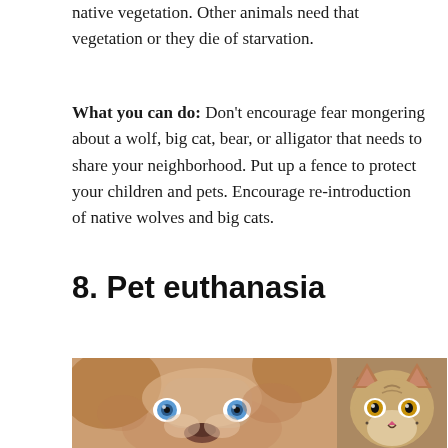native vegetation. Other animals need that vegetation or they die of starvation.
What you can do: Don't encourage fear mongering about a wolf, big cat, bear, or alligator that needs to share your neighborhood. Put up a fence to protect your children and pets. Encourage re-introduction of native wolves and big cats.
8. Pet euthanasia
[Figure (photo): Side-by-side photos of a dog (close-up of a light-colored dog with blue eyes) and a cat (tabby cat looking up).]